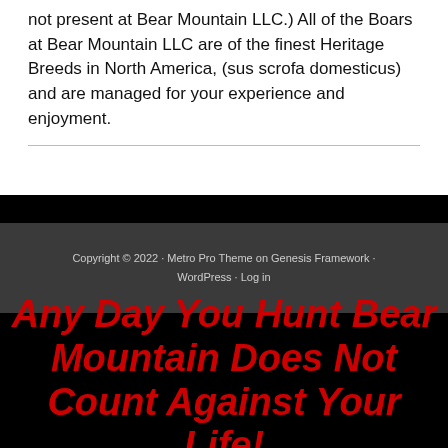not present at Bear Mountain LLC.) All of the Boars at Bear Mountain LLC are of the finest Heritage Breeds in North America, (sus scrofa domesticus) and are managed for your experience and enjoyment.
Copyright © 2022 · Metro Pro Theme on Genesis Framework · WordPress · Log in
Any Day You Hunt Bear Mountain Does Not Count Against Your Life!